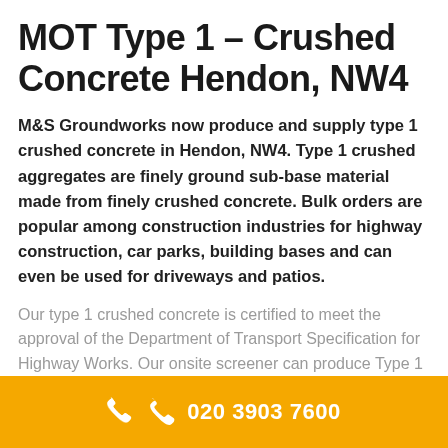MOT Type 1 – Crushed Concrete Hendon, NW4
M&S Groundworks now produce and supply type 1 crushed concrete in Hendon, NW4. Type 1 crushed aggregates are finely ground sub-base material made from finely crushed concrete. Bulk orders are popular among construction industries for highway construction, car parks, building bases and can even be used for driveways and patios.
Our type 1 crushed concrete is certified to meet the approval of the Department of Transport Specification for Highway Works. Our onsite screener can produce Type 1 MOT in different variations of size, from 40mm right down
020 3903 7600